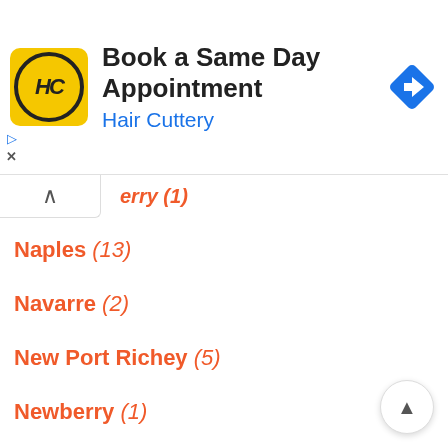[Figure (screenshot): Hair Cuttery advertisement banner: yellow logo with HC initials in circle, text 'Book a Same Day Appointment' and 'Hair Cuttery' in blue, blue diamond navigation arrow icon on right]
...erry (1)
Naples (13)
Navarre (2)
New Port Richey (5)
Newberry (1)
Niceville (1)
Nokomis (1)
North Fort Myers (3)
North Lauderdale (1)